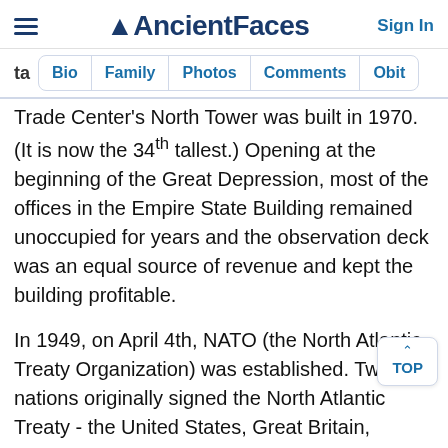AncientFaces — Sign In
ta  Bio  Family  Photos  Comments  Obit
Trade Center's North Tower was built in 1970. (It is now the 34th tallest.) Opening at the beginning of the Great Depression, most of the offices in the Empire State Building remained unoccupied for years and the observation deck was an equal source of revenue and kept the building profitable.
In 1949, on April 4th, NATO (the North Atlantic Treaty Organization) was established. Twelve nations originally signed the North Atlantic Treaty - the United States, Great Britain, France, Belgium, the Netherlands, Denmark,